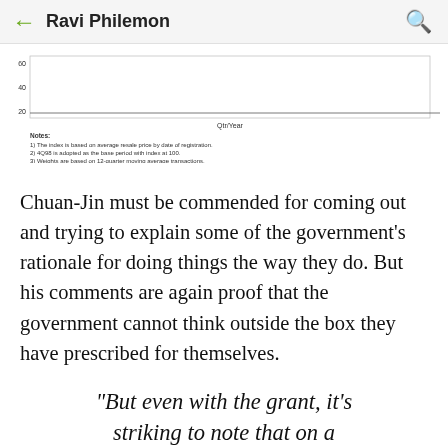Ravi Philemon
[Figure (continuous-plot): A line chart showing a resale price index over time (Qtr/Year), with y-axis values around 20-60 visible. Notes below state: 1) The index is based on average resale price by date of registration. 2) 4Q98 is adopted as the base period with index at 100. 3) Weights are based on 12-quarter moving average transactions.]
Chuan-Jin must be commended for coming out and trying to explain some of the government's rationale for doing things the way they do. But his comments are again proof that the government cannot think outside the box they have prescribed for themselves.
"But even with the grant, it's striking to note that on a